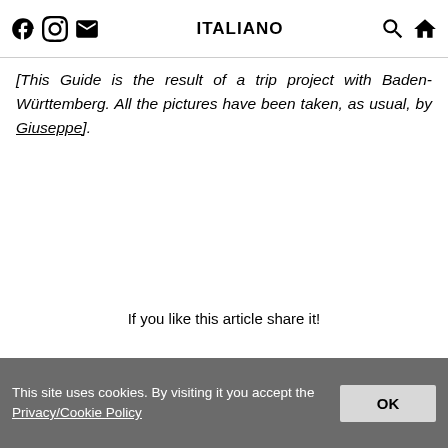ITALIANO
[This Guide is the result of a trip project with Baden-Württemberg. All the pictures have been taken, as usual, by Giuseppe].
If you like this article share it!
This site uses cookies. By visiting it you accept the Privacy/Cookie Policy